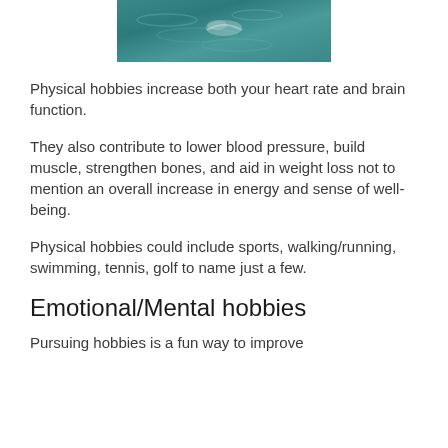[Figure (photo): Teal/turquoise water surface photo, partially cropped at top of page]
Physical hobbies increase both your heart rate and brain function.
They also contribute to lower blood pressure, build muscle, strengthen bones, and aid in weight loss not to mention an overall increase in energy and sense of well-being.
Physical hobbies could include sports, walking/running, swimming, tennis, golf to name just a few.
Emotional/Mental hobbies
Pursuing hobbies is a fun way to improve